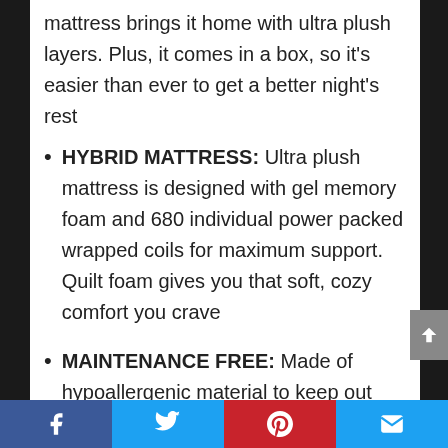mattress brings it home with ultra plush layers. Plus, it comes in a box, so it's easier than ever to get a better night's rest
HYBRID MATTRESS: Ultra plush mattress is designed with gel memory foam and 680 individual power packed wrapped coils for maximum support. Quilt foam gives you that soft, cozy comfort you crave
MAINTENANCE FREE: Made of hypoallergenic material to keep out dust mites, pollen, mold and pet dander perfect for kids or adults
Facebook | Twitter | Pinterest | Email